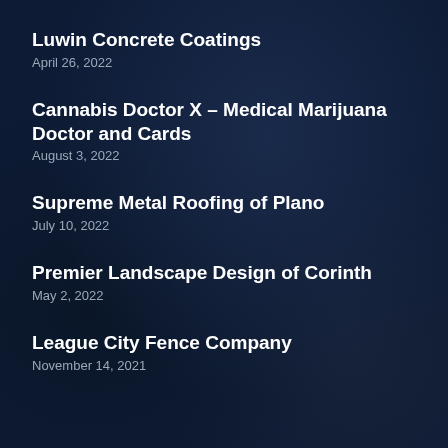Luwin Concrete Coatings
April 26, 2022
Cannabis Doctor X – Medical Marijuana Doctor and Cards
August 3, 2022
Supreme Metal Roofing of Plano
July 10, 2022
Premier Landscape Design of Corinth
May 2, 2022
League City Fence Company
November 14, 2021